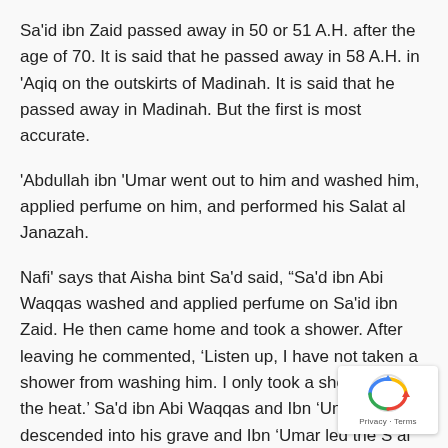Sa'id ibn Zaid passed away in 50 or 51 A.H. after the age of 70. It is said that he passed away in 58 A.H. in 'Aqiq on the outskirts of Madinah. It is said that he passed away in Madinah. But the first is most accurate.
'Abdullah ibn 'Umar went out to him and washed him, applied perfume on him, and performed his Salat al Janazah.
Nafi' says that Aisha bint Sa'd said, “Sa'd ibn Abi Waqqas washed and applied perfume on Sa'id ibn Zaid. He then came home and took a shower. After leaving he commented, 'Listen up, I have not taken a shower from washing him. I only took a shower due to the heat.' Sa'd ibn Abi Waqqas and Ibn 'Umar descended into his grave and Ibn 'Umar led the S al Janazah.[36]